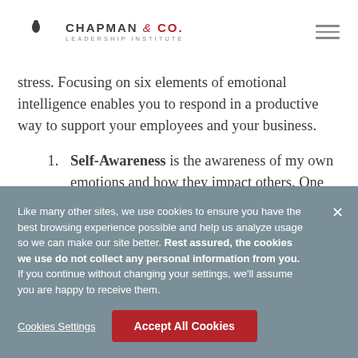CHAPMAN & CO. LEADERSHIP INSTITUTE
stress. Focusing on six elements of emotional intelligence enables you to respond in a productive way to support your employees and your business.
Self-Awareness is the awareness of my own emotions and how they impact others. One way
Like many other sites, we use cookies to ensure you have the best browsing experience possible and help us analyze usage so we can make our site better. Rest assured, the cookies we use do not collect any personal information from you. If you continue without changing your settings, we'll assume you are happy to receive them.
Cookies Settings | Accept All Cookies